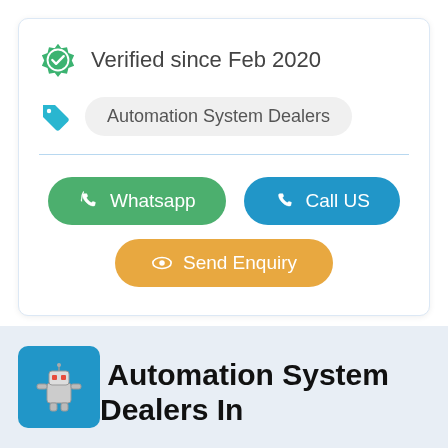Verified since Feb 2020
Automation System Dealers
Whatsapp
Call US
Send Enquiry
Automation System Dealers In